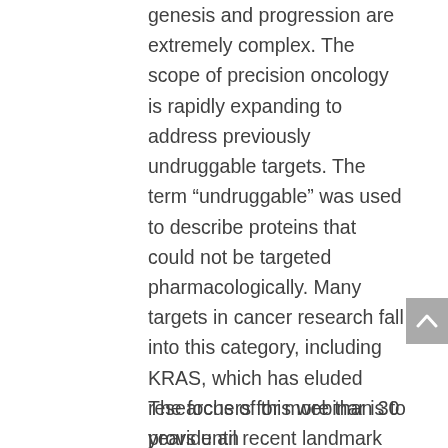genesis and progression are extremely complex. The scope of precision oncology is rapidly expanding to address previously undruggable targets. The term “undruggable” was used to describe proteins that could not be targeted pharmacologically. Many targets in cancer research fall into this category, including KRAS, which has eluded researchers for more than 30 years until recent landmark discoveries of AMG 510, MRTX 849, and BI 1701963. As clinical trials are vigorously advanced, efficacy, safety, resistance, and combination strategies are being carefully evaluated for those drug candidates. In addition to KRAS, there are other challenging targets such as P53, MYC, fusion transcription factors, immuno-suppressors,... etc.
The focus of this webinar is to provide an